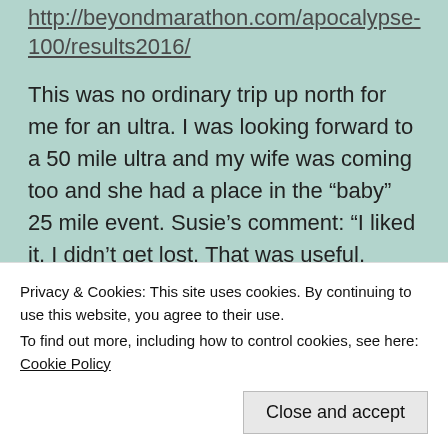http://beyondmarathon.com/apocalypse-100/results2016/
This was no ordinary trip up north for me for an ultra. I was looking forward to a 50 mile ultra and my wife was coming too and she had a place in the “baby” 25 mile event. Susie’s comment: “I liked it. I didn’t get lost. That was useful. Scenery was pretty. Ups were hard but the downs were nice”.
[Figure (other): Advertisement for P2 service: Getting your team on the same page is easy. And free.]
Privacy & Cookies: This site uses cookies. By continuing to use this website, you agree to their use.
To find out more, including how to control cookies, see here: Cookie Policy
extensive participants handbook about the four